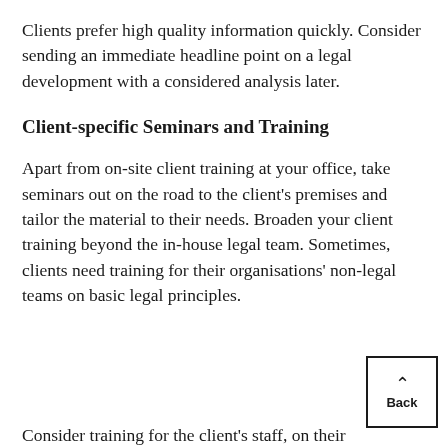Clients prefer high quality information quickly. Consider sending an immediate headline point on a legal development with a considered analysis later.
Client-specific Seminars and Training
Apart from on-site client training at your office, take seminars out on the road to the client's premises and tailor the material to their needs. Broaden your client training beyond the in-house legal team. Sometimes, clients need training for their organisations' non-legal teams on basic legal principles.
Consider training for the client's staff, on their